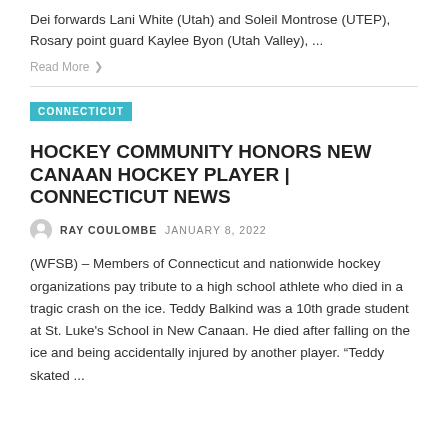Dei forwards Lani White (Utah) and Soleil Montrose (UTEP), Rosary point guard Kaylee Byon (Utah Valley), ...
Read More ❯
CONNECTICUT
HOCKEY COMMUNITY HONORS NEW CANAAN HOCKEY PLAYER | CONNECTICUT NEWS
RAY COULOMBE  JANUARY 8, 2022
(WFSB) – Members of Connecticut and nationwide hockey organizations pay tribute to a high school athlete who died in a tragic crash on the ice. Teddy Balkind was a 10th grade student at St. Luke's School in New Canaan. He died after falling on the ice and being accidentally injured by another player. “Teddy skated ...